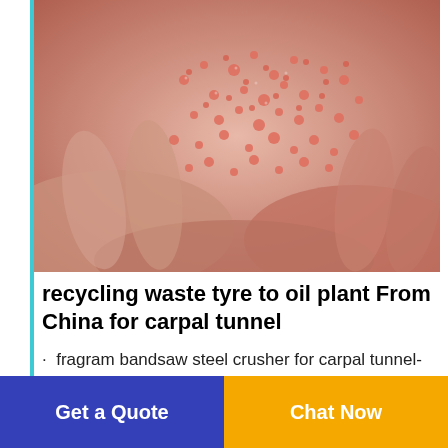[Figure (photo): Close-up photo of pink/copper colored granules or shredded material being held in human hands]
recycling waste tyre to oil plant From China for carpal tunnel
· fragram bandsaw steel crusher for carpal tunnel- KR Machinery. machine equipmentlasire . · used waste circuit board recycling for carpal tunnel chinaware types single shaft shredder for metal separation high quality best selling copper wire for cabe wire steam generater steel crusher For the wire-stripping machine
Get a Quote | Chat Now